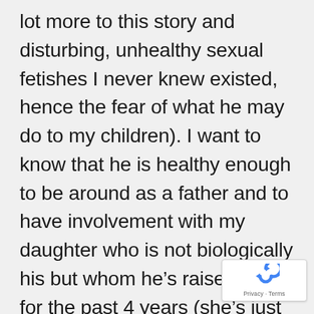lot more to this story and disturbing, unhealthy sexual fetishes I never knew existed, hence the fear of what he may do to my children). I want to know that he is healthy enough to be around as a father and to have involvement with my daughter who is not biologically his but whom he's raised as his for the past 4 years (she's just 6 now). I want to trust him enough to know he truly cares about and loves his family and puts our well-being first. I feel as though without some sort of full disclosure, this just won't be possible.
[Figure (other): reCAPTCHA badge with Privacy and Terms links]